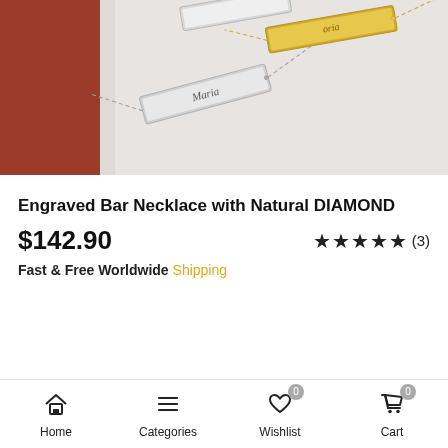[Figure (photo): Product photo of engraved bar necklaces on a light background. Three metal bar pendants with chains are shown: one silver engraved with 'Maria', one silver/white, and one gold, with names engraved. A red/brown wallet or book is partially visible in the top left corner.]
Engraved Bar Necklace with Natural DIAMOND
$142.90
★★★★★ (3)
Fast & Free Worldwide Shipping
Home  Categories  Wishlist 0  Cart 0